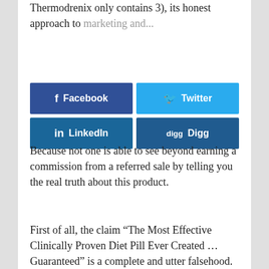Thermodrenix only contains 3), its honest approach to marketing and...
[Figure (infographic): Social sharing buttons overlay: Facebook (blue), Twitter (light blue), LinkedIn (dark blue), Digg (dark blue)]
Because not one is able to see beyond earning a commission from a referred sale by telling you the real truth about this product.
First of all, the claim “The Most Effective Clinically Proven Diet Pill Ever Created … Guaranteed” is a complete and utter falsehood.